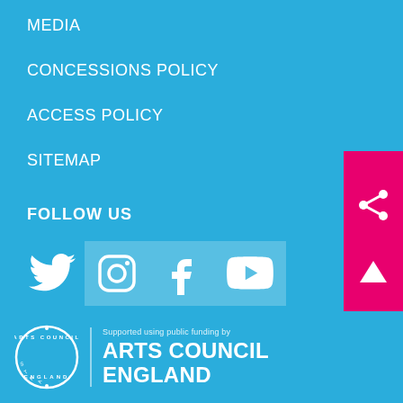MEDIA
CONCESSIONS POLICY
ACCESS POLICY
SITEMAP
FOLLOW US
[Figure (infographic): Social media icons row: Twitter, Instagram (with background), Facebook (with background), YouTube (with background)]
[Figure (infographic): Pink panel on right side with share icon and up arrow icon]
[Figure (logo): Arts Council England circular logo with text: Supported using public funding by ARTS COUNCIL ENGLAND]